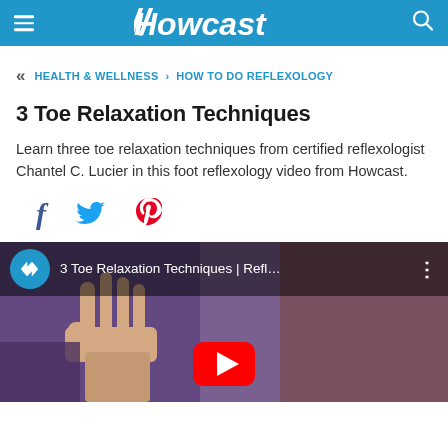Howcast
« HEALTH & WELLNESS > HOW TO DO REFLEXOLOGY
3 Toe Relaxation Techniques
Learn three toe relaxation techniques from certified reflexologist Chantel C. Lucier in this foot reflexology video from Howcast.
[Figure (screenshot): Social sharing icons: Facebook (f), Twitter (bird), Pinterest (P)]
[Figure (screenshot): YouTube video thumbnail showing '3 Toe Relaxation Techniques | Refl...' with Howcast badge and play button, background shows hands performing reflexology]